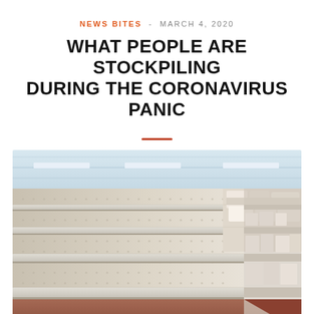NEWS BITES  -  MARCH 4, 2020
WHAT PEOPLE ARE STOCKPILING DURING THE CORONAVIRUS PANIC
[Figure (photo): Empty store shelves in a supermarket aisle, with only a few items remaining on the far right end. The shelves have a pegboard backing and the floor is reddish-brown. The photo shows a perspective view down a long aisle.]